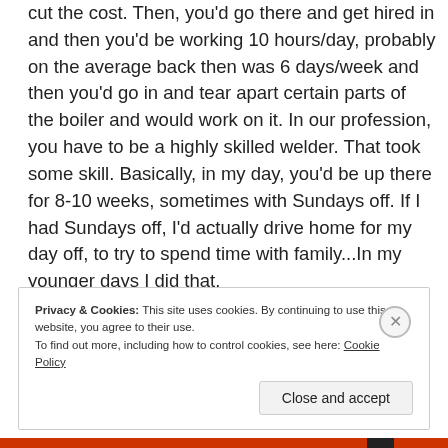cut the cost. Then, you'd go there and get hired in and then you'd be working 10 hours/day, probably on the average back then was 6 days/week and then you'd go in and tear apart certain parts of the boiler and would work on it. In our profession, you have to be a highly skilled welder. That took some skill. Basically, in my day, you'd be up there for 8-10 weeks, sometimes with Sundays off. If I had Sundays off, I'd actually drive home for my day off, to try to spend time with family...In my younger days I did that.
Privacy & Cookies: This site uses cookies. By continuing to use this website, you agree to their use. To find out more, including how to control cookies, see here: Cookie Policy
Close and accept